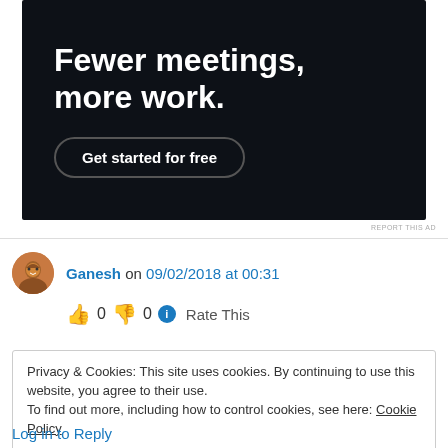[Figure (infographic): Dark background advertisement banner with bold white text 'Fewer meetings, more work.' and a 'Get started for free' button with rounded border.]
REPORT THIS AD
Ganesh on 09/02/2018 at 00:31
👍 0 👎 0 ℹ Rate This
Privacy & Cookies: This site uses cookies. By continuing to use this website, you agree to their use.
To find out more, including how to control cookies, see here: Cookie Policy
Close and accept
Log in to Reply